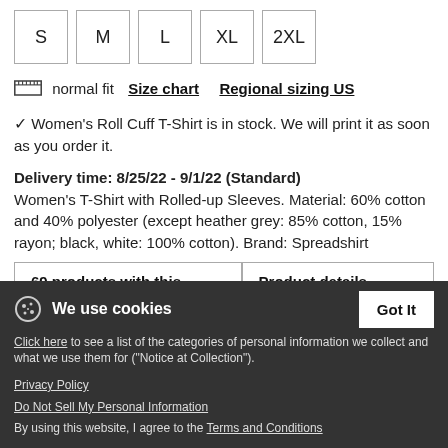S M L XL 2XL (size selector boxes)
normal fit   Size chart   Regional sizing US
✓ Women's Roll Cuff T-Shirt is in stock. We will print it as soon as you order it.
Delivery time: 8/25/22 - 9/1/22 (Standard)
Women's T-Shirt with Rolled-up Sleeves. Material: 60% cotton and 40% polyester (except heather grey: 85% cotton, 15% rayon; black, white: 100% cotton). Brand: Spreadshirt
| 69 products with this design | Product details |
| --- | --- |
We use cookies
Click here to see a list of the categories of personal information we collect and what we use them for ("Notice at Collection").
Privacy Policy
Do Not Sell My Personal Information
By using this website, I agree to the Terms and Conditions